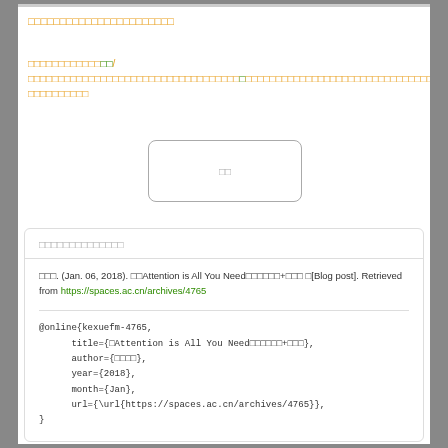□□□□□□□□□□□□□□□□□□□□□□□
□□□□□□□□□□□□□□/□□□□□□□□□□□□□□□□□□□□□□□□□□□□□□□□□□□□□□□□□□□□□□□□□□□□□□□□□□□□□□□□□□□□□□□□□□□□
[Figure (other): Button element with Chinese characters]
□□□□□□□□□□□□□□
□□□. (Jan. 06, 2018). □□Attention is All You Need□□□□□□+□□□ □[Blog post]. Retrieved from https://spaces.ac.cn/archives/4765
@online{kexuefm-4765,
    title={□Attention is All You Need□□□□□□+□□□},
    author={□□□□},
    year={2018},
    month={Jan},
    url={\url{https://spaces.ac.cn/archives/4765}},
}